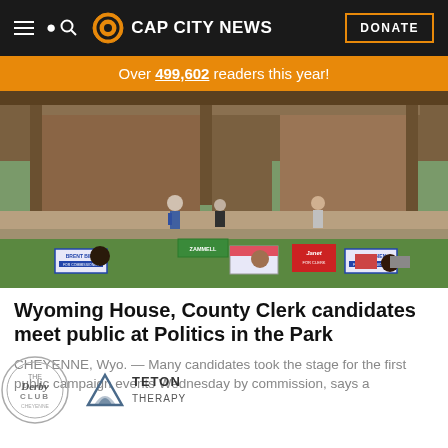CAP CITY NEWS
Over 499,602 readers this year!
[Figure (photo): Outdoor amphitheater event with candidate signs including 'Brent Bien' and 'Janet' on a grass lawn, attendees seated in folding chairs, speakers on stage in background with wooden pavilion structure]
Wyoming House, County Clerk candidates meet public at Politics in the Park
CHEYENNE, Wyo. — Many candidates took the stage for the first public campaign events Wednesday by commission, says a
[Figure (logo): The Derby Club logo (circular badge style)]
[Figure (logo): Teton Therapy logo with mountain/arch icon]